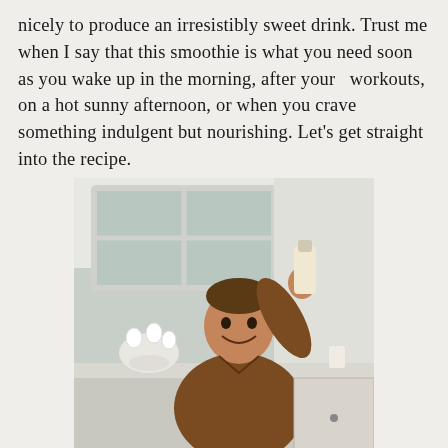nicely to produce an irresistibly sweet drink. Trust me when I say that this smoothie is what you need soon as you wake up in the morning, after your  workouts, on a hot sunny afternoon, or when you crave something indulgent but nourishing. Let's get straight into the recipe.
[Figure (photo): A smiling man in a brown button-up shirt holding up a smoothie drink bottle in a bright modern kitchen with white orchids and large windows in the background.]